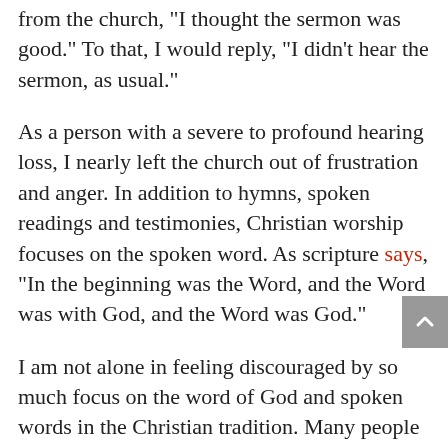from the church, "I thought the sermon was good." To that, I would reply, "I didn't hear the sermon, as usual."
As a person with a severe to profound hearing loss, I nearly left the church out of frustration and anger. In addition to hymns, spoken readings and testimonies, Christian worship focuses on the spoken word. As scripture says, "In the beginning was the Word, and the Word was with God, and the Word was God."
I am not alone in feeling discouraged by so much focus on the word of God and spoken words in the Christian tradition. Many people with hearing loss leave or disengage from their Christian faith.
But that doesn't have to happen. As a theologian, I study how adults with hearing loss worldwide